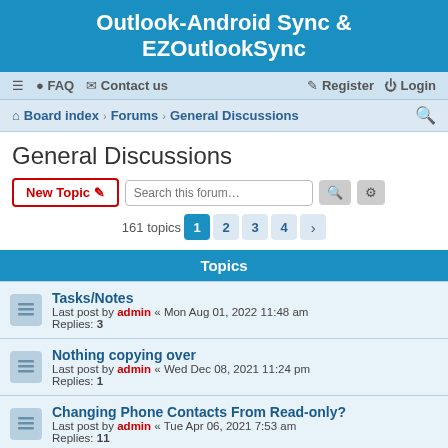Outlook-Android Sync & EZOutlookSync
≡  FAQ  Contact us    Register  Login
Board index › Forums › General Discussions
General Discussions
New Topic  Search this forum…  161 topics  1  2  3  4  >
Topics
Tasks/Notes
Last post by admin « Mon Aug 01, 2022 11:48 am
Replies: 3
Nothing copying over
Last post by admin « Wed Dec 08, 2021 11:24 pm
Replies: 1
Changing Phone Contacts From Read-only?
Last post by admin « Tue Apr 06, 2021 7:53 am
Replies: 11
Contacts display incomplete data
Last post by admin « Fri Feb 26, 2021 11:12 am
Replies: 5